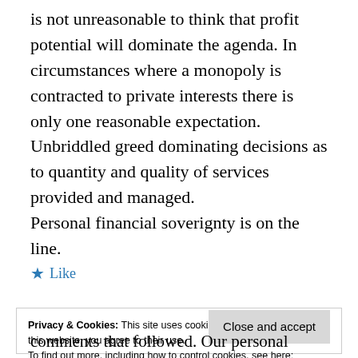is not unreasonable to think that profit potential will dominate the agenda. In circumstances where a monopoly is contracted to private interests there is only one reasonable expectation. Unbriddled greed dominating decisions as to quantity and quality of services provided and managed.
Personal financial soverignty is on the line.
★ Like
Privacy & Cookies: This site uses cookies. By continuing to use this website, you agree to their use.
To find out more, including how to control cookies, see here:
Cookie Policy
Close and accept
comments that followed. Our personal